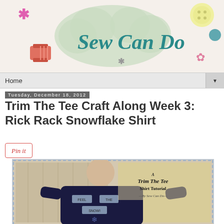[Figure (logo): Sew Can Do blog header logo with decorative text, thread spool, snowflake asterisks, button, and floral shapes on light green/cream background]
Home ▼
Tuesday, December 18, 2012
Trim The Tee Craft Along Week 3: Rick Rack Snowflake Shirt
[Figure (illustration): Pin it button]
[Figure (photo): A Trim The Tee Shirt Tutorial by Sew Can Do - person wearing navy sweatshirt with rick rack snowflake design spelling FEEL THE SNOW, standing in front of lockers]